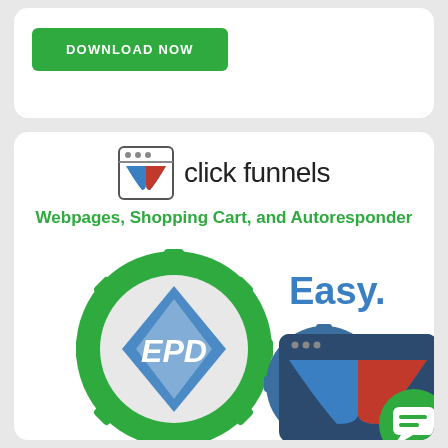[Figure (screenshot): A green DOWNLOAD NOW button on a white card]
[Figure (logo): ClickFunnels logo with icon and text 'click funnels']
Webpages, Shopping Cart, and Autoresponder
[Figure (illustration): EPD gear logo on left, blue gear with ClickFunnels browser window on right, with 'Easy.' text, and a green chat bubble icon bottom right]